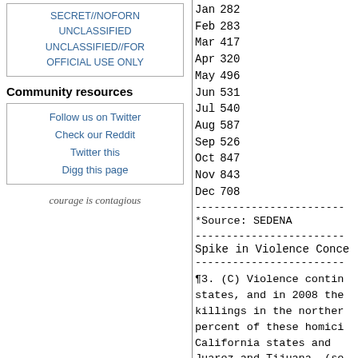| SECRET//NOFORN |
| UNCLASSIFIED |
| UNCLASSIFIED//FOR |
| OFFICIAL USE ONLY |
Community resources
| Follow us on Twitter |
| Check our Reddit |
| Twitter this |
| Digg this page |
courage is contagious
| Month | Value |
| --- | --- |
| Jan | 282 |
| Feb | 283 |
| Mar | 417 |
| Apr | 320 |
| May | 496 |
| Jun | 531 |
| Jul | 540 |
| Aug | 587 |
| Sep | 526 |
| Oct | 847 |
| Nov | 843 |
| Dec | 708 |
*Source: SEDENA
Spike in Violence Conce
¶3. (C) Violence contin states, and in 2008 the killings in the norther percent of these homici California states and Juarez and Tijuana. (se rank among the most vi (or 18%) of these killi border stems largely fr cartels over a few luc particular, the January Beltran Leyva sparked a